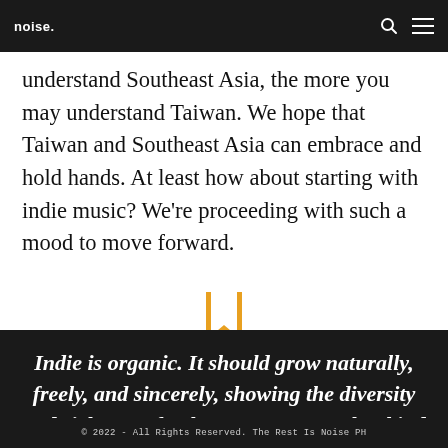noise.
understand Southeast Asia, the more you may understand Taiwan. We hope that Taiwan and Southeast Asia can embrace and hold hands. At least how about starting with indie music? We're proceeding with such a mood to move forward.
[Figure (illustration): Orange/gold bookmark icon]
Indie is organic. It should grow naturally, freely, and sincerely, showing the diversity and richness of culture, no matter what kind of soil
© 2022 - All Rights Reserved. The Rest Is Noise PH